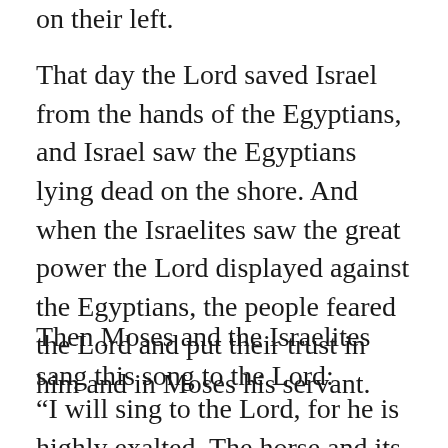on their left.
That day the Lord saved Israel from the hands of the Egyptians, and Israel saw the Egyptians lying dead on the shore. And when the Israelites saw the great power the Lord displayed against the Egyptians, the people feared the Lord and put their trust in him and in Moses his servant.
Then Moses and the Israelites sang this song to the Lord:
“I will sing to the Lord, for he is highly exalted. The horse and its rider he has hurled into the sea. The Lord is my strength and